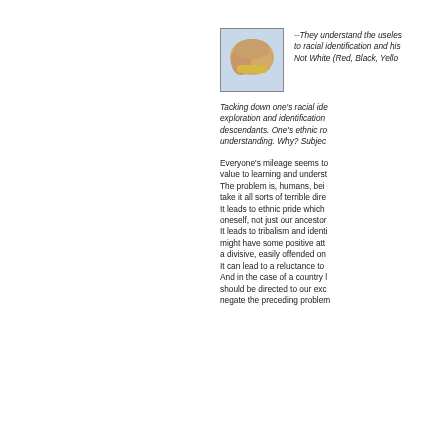[Figure (photo): Close-up photo of what appears to be a hand or body part with a yellow/gold colored item]
--They understand the uselessness of clinging to racial identification and his... Not White (Red, Black, Yello...
Tacking down one's racial ide... exploration and identification... descendants. One's ethnic ro... understanding. Why? Subjec...
Everyone's mileage seems to... value to learning and underst... The problem is, humans, bei... take it all sorts of terrible dire... It leads to ethnic pride which... oneself, not just our ancestors... It leads to tribalism and identi... might have some positive att... a divisive, easily offended on... It can lead to a reluctance to... And in the case of a country l... should be directed to our exc... negate the preceding problem...